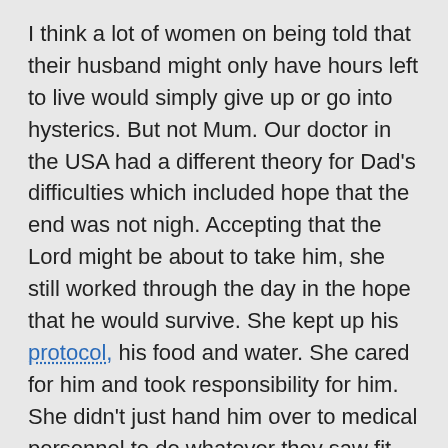I think a lot of women on being told that their husband might only have hours left to live would simply give up or go into hysterics. But not Mum. Our doctor in the USA had a different theory for Dad's difficulties which included hope that the end was not nigh. Accepting that the Lord might be about to take him, she still worked through the day in the hope that he would survive. She kept up his protocol, his food and water. She cared for him and took responsibility for him. She didn't just hand him over to medical personnel to do whatever they saw fit. [This is not to say that we don't very much appreciate all that the medical personnel did and continue to do. We do, but what I want readers to understand is that though sleep deprived, fatigued and stretched to the max with cares and concerns, Mum didn't just hand over responsibility and care for Dad to another. She kept